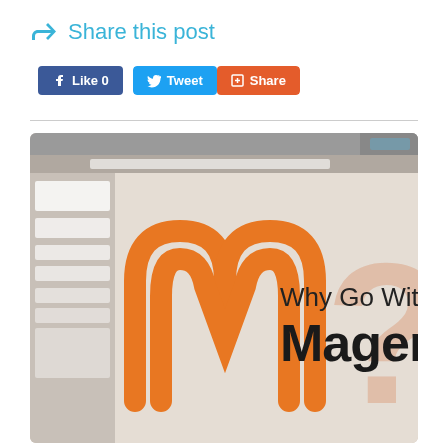Share this post
[Figure (screenshot): Social sharing buttons: Facebook Like 0, Tweet, and Share buttons]
[Figure (illustration): Magento logo with text 'Why Go With Magento 2?' and a large question mark, overlaid on a blurred screenshot background]